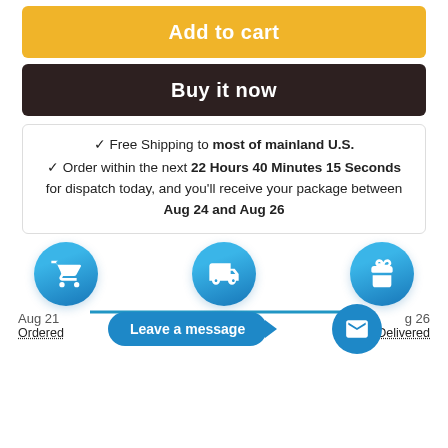Add to cart
Buy it now
✓ Free Shipping to most of mainland U.S.
✓ Order within the next 22 Hours 40 Minutes 15 Seconds for dispatch today, and you'll receive your package between Aug 24 and Aug 26
[Figure (infographic): Order tracking timeline with three blue circle icons (cart with checkmark, delivery truck, gift box) connected by a horizontal blue line. Below each icon: Aug 21 / Ordered, Order Ready, Aug 26 / Delivered. A 'Leave a message' pill button overlays the middle section with a mail envelope icon circle.]